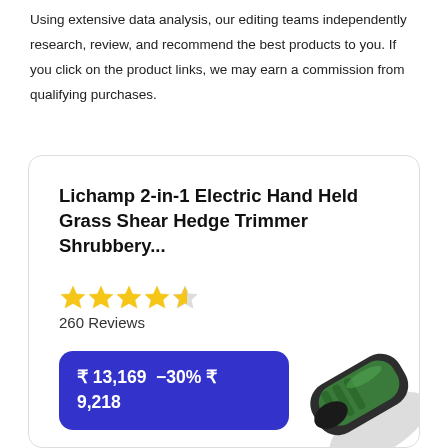Using extensive data analysis, our editing teams independently research, review, and recommend the best products to you. If you click on the product links, we may earn a commission from qualifying purchases.
Lichamp 2-in-1 Electric Hand Held Grass Shear Hedge Trimmer Shrubbery...
260 Reviews
₹ 13,169  −30% ₹ 9,218
Buy on Amazon
[Figure (photo): Product image of a green and black electric grass shear/hedge trimmer handle]